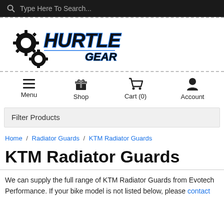Type Here To Search...
[Figure (logo): Hurtle Gear logo with gear/sprocket imagery and stylized italic text]
Menu  Shop  Cart (0)  Account
Filter Products
Home / Radiator Guards / KTM Radiator Guards
KTM Radiator Guards
We can supply the full range of KTM Radiator Guards from Evotech Performance. If your bike model is not listed below, please contact